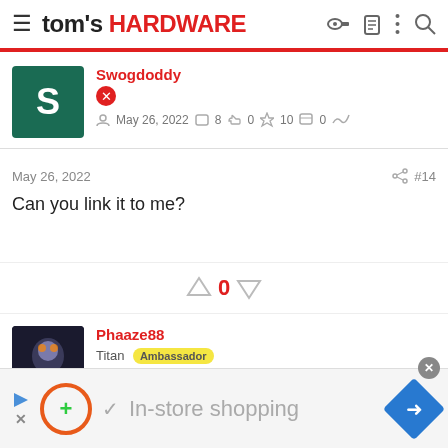tom's HARDWARE
Swogdoddy
May 26, 2022  8  0  10  0
May 26, 2022  #14
Can you link it to me?
0
Phaaze88
Titan Ambassador
Dec 30, 2016  18,876  4,575  91,690
[Figure (screenshot): In-store shopping advertisement bar at bottom]